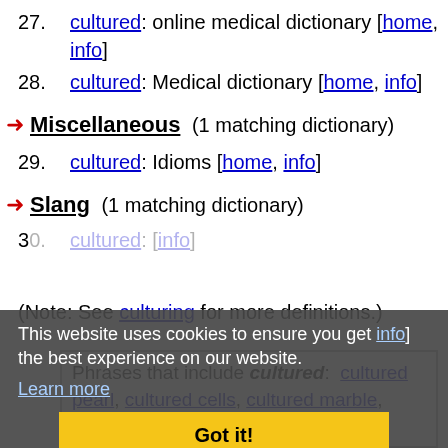27. cultured: online medical dictionary [home, info]
28. cultured: Medical dictionary [home, info]
Miscellaneous (1 matching dictionary)
29. cultured: Idioms [home, info]
Slang (1 matching dictionary)
30. cultured: [info]
(Note: See culturing for more definitions.)
This website uses cookies to ensure you get the best experience on our website.
Learn more
Got it!
Phrases that include cultured: cultured pearl, cultured cells, cultured marble, cultured